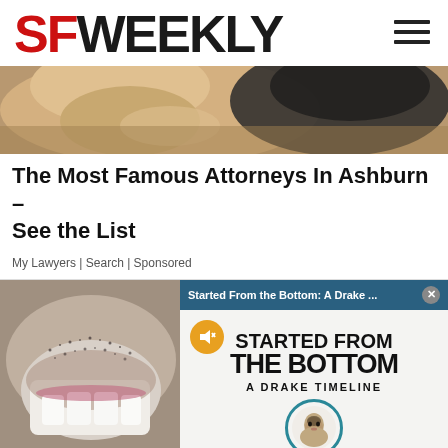SF WEEKLY
[Figure (photo): Cropped photo of two people, close-up faces, one with blonde hair]
The Most Famous Attorneys In Ashburn – See the List
My Lawyers | Search | Sponsored
[Figure (photo): Close-up photo of teeth/dental beside a video overlay widget titled 'Started From the Bottom: A Drake Timeline' with large bold text and a circular Drake illustration]